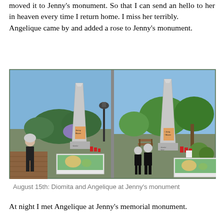moved it to Jenny's monument. So that I can send an hello to her in heaven every time I return home. I miss her terribly. Angelique came by and added a rose to Jenny's monument.
[Figure (photo): Two side-by-side screenshots from a virtual world (Second Life) showing a tall white obelisk monument with flowers at its base in a park setting. On the left, a female avatar in black stands near a planter box. On the right, two female avatars stand near the same monument with planters and red items nearby.]
August 15th: Diomita and Angelique at Jenny's monument
At night I met Angelique at Jenny's memorial monument.